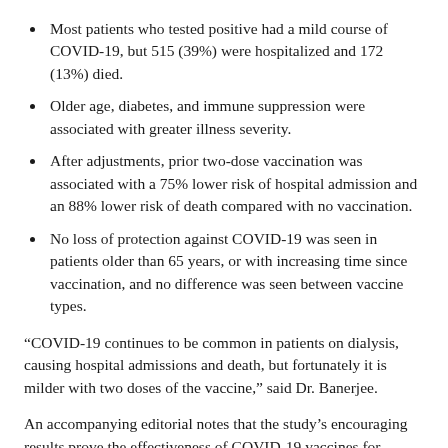Most patients who tested positive had a mild course of COVID-19, but 515 (39%) were hospitalized and 172 (13%) died.
Older age, diabetes, and immune suppression were associated with greater illness severity.
After adjustments, prior two-dose vaccination was associated with a 75% lower risk of hospital admission and an 88% lower risk of death compared with no vaccination.
No loss of protection against COVID-19 was seen in patients older than 65 years, or with increasing time since vaccination, and no difference was seen between vaccine types.
“COVID-19 continues to be common in patients on dialysis, causing hospital admissions and death, but fortunately it is milder with two doses of the vaccine,” said Dr. Banerjee.
An accompanying editorial notes that the study’s encouraging results prove the effectiveness of COVID-19 vaccines for patients on dialysis, but there is still much work to be done. “While the